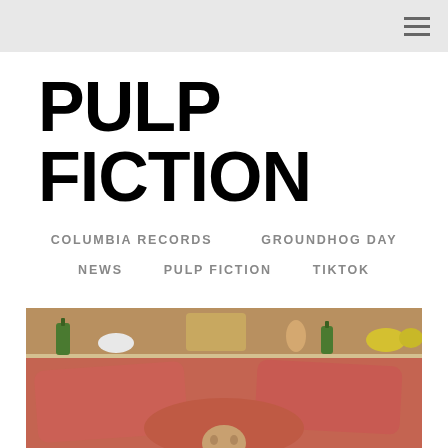PULP FICTION
COLUMBIA RECORDS
GROUNDHOG DAY
NEWS
PULP FICTION
TIKTOK
[Figure (photo): A person lying in a bed with coral/salmon-colored bedding and pillows, viewed from above. Behind the bed is a shelf with various objects including bottles and figurines.]